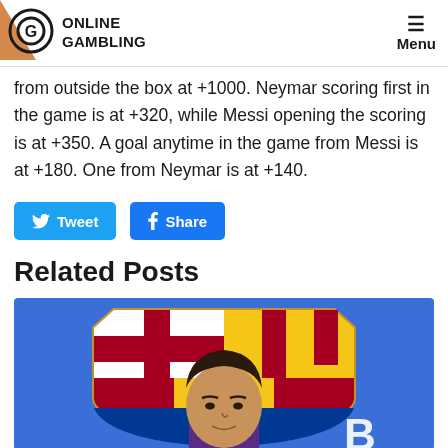ONLINE GAMBLING — Menu
from outside the box at +1000. Neymar scoring first in the game is at +320, while Messi opening the scoring is at +350. A goal anytime in the game from Messi is at +180. One from Neymar is at +140.
[Figure (other): Tweet and Share social media buttons]
Related Posts
[Figure (photo): Photo of Lionel Messi in front of FC Barcelona crest/logo, appears to be at a press conference]